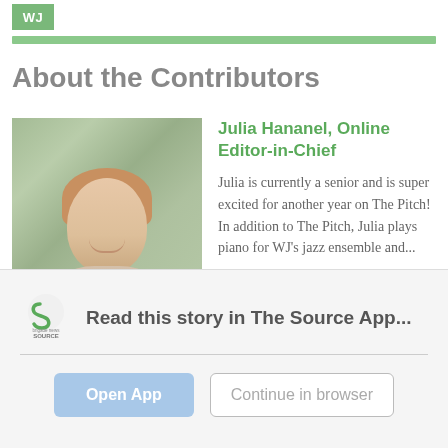[Figure (logo): WJ logo in green box]
About the Contributors
[Figure (photo): Photo of Julia Hananel, a young woman with blonde hair smiling, with green foliage in the background]
Julia Hananel, Online Editor-in-Chief
Julia is currently a senior and is super excited for another year on The Pitch! In addition to The Pitch, Julia plays piano for WJ's jazz ensemble and...
Read this story in The Source App...
[Figure (logo): The Source app logo — green S symbol with 'brigade news SOURCE' text]